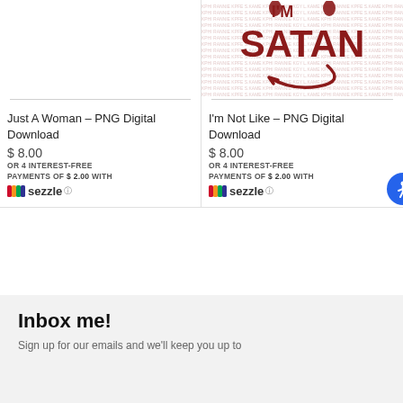[Figure (illustration): Product image for 'I'm Not Like Satan' PNG digital download — dark red bold text 'SATAN' with small horns icon and arrow/tail graphic on a watermark background]
Just A Woman - PNG Digital Download
$ 8.00
OR 4 INTEREST-FREE PAYMENTS OF $2.00 WITH sezzle
I'm Not Like - PNG Digital Download
$ 8.00
OR 4 INTEREST-FREE PAYMENTS OF $2.00 WITH sezzle
Inbox me!
Sign up for our emails and we'll keep you up to